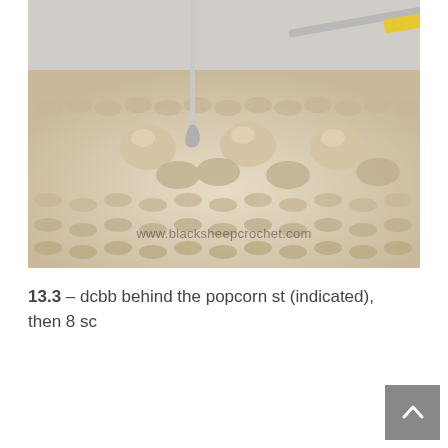[Figure (photo): Close-up photo of cream/beige crochet popcorn stitch fabric being worked with a crochet hook (silver hook with yellow handle). The textured stitches show raised popcorn stitches. Watermark reads www.blacksheepcrochet.com]
13.3 – dcbb behind the popcorn st (indicated), then 8 sc